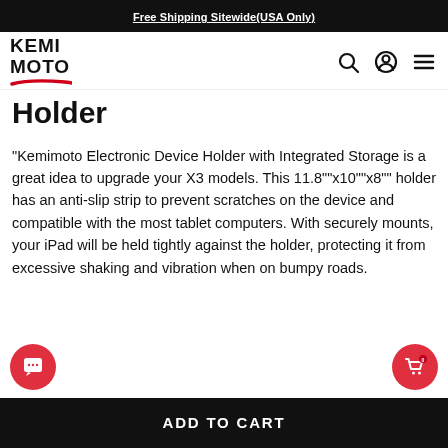Free Shipping Sitewide(USA Only)
[Figure (logo): Kemimoto logo with red swoosh underline and navigation icons (search, account, menu)]
Holder
"Kemimoto Electronic Device Holder with Integrated Storage is a great idea to upgrade your X3 models. This 11.8""x10""x8"" holder has an anti-slip strip to prevent scratches on the device and compatible with the most tablet computers. With securely mounts, your iPad will be held tightly against the holder, protecting it from excessive shaking and vibration when on bumpy roads.
ADD TO CART